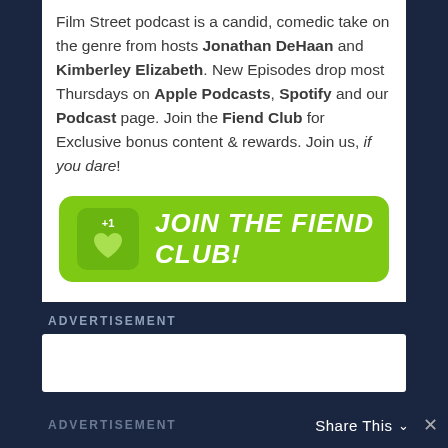Film Street podcast is a candid, comedic take on the genre from hosts Jonathan DeHaan and Kimberley Elizabeth. New Episodes drop most Thursdays on Apple Podcasts, Spotify and our Podcast page. Join the Fiend Club for Exclusive bonus content & rewards. Join us, if you dare!
[Figure (infographic): Green rounded button with heart icon showing +1 and text JOIN THE FIEND CLUB! in white italic bold uppercase letters]
ADVERTISEMENT
[Figure (other): White advertisement placeholder box]
ADVERTISEMENT
Share This